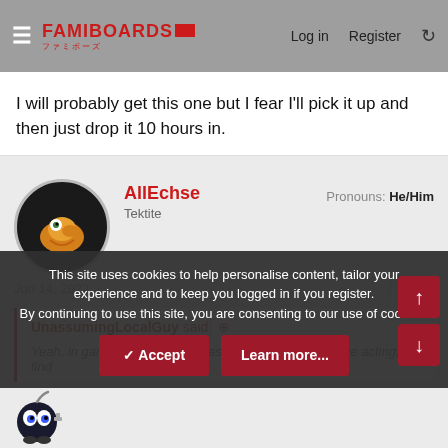FAMIBOARDS | Log in | Register
I will probably get this one but I fear I'll pick it up and then just drop it 10 hours in.
AllEchse
Tektite
Pronouns: He/Him
Jun 14, 2022  #240
UnassumingLocalGuy said: ↑
Yeah, in games with text/box-based cutscenes and voice acting, I find
This site uses cookies to help personalise content, tailor your experience and to keep you logged in if you register.
By continuing to use this site, you are consenting to our use of cookies.
✓ Accept    Learn more...